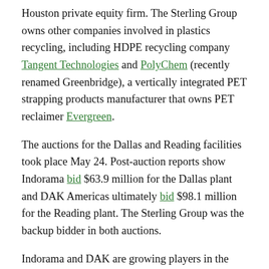Houston private equity firm. The Sterling Group owns other companies involved in plastics recycling, including HDPE recycling company Tangent Technologies and PolyChem (recently renamed Greenbridge), a vertically integrated PET strapping products manufacturer that owns PET reclaimer Evergreen.
The auctions for the Dallas and Reading facilities took place May 24. Post-auction reports show Indorama bid $63.9 million for the Dallas plant and DAK Americas ultimately bid $98.1 million for the Reading plant. The Sterling Group was the backup bidder in both auctions.
Indorama and DAK are growing players in the U.S. PET recycling space. Indorama in recent years acquired U.S. reclaimers Green Fiber International and Custom Polymers PET, and DAK Americas purchased Perpetual Recycling Solutions'